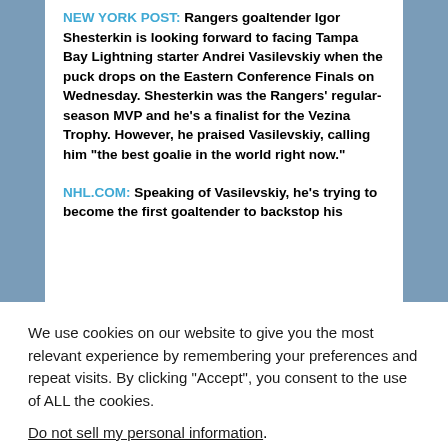NEW YORK POST: Rangers goaltender Igor Shesterkin is looking forward to facing Tampa Bay Lightning starter Andrei Vasilevskiy when the puck drops on the Eastern Conference Finals on Wednesday. Shesterkin was the Rangers' regular-season MVP and he's a finalist for the Vezina Trophy. However, he praised Vasilevskiy, calling him “the best goalie in the world right now.”
NHL.COM: Speaking of Vasilevskiy, he’s trying to become the first goaltender to backstop his...
We use cookies on our website to give you the most relevant experience by remembering your preferences and repeat visits. By clicking “Accept”, you consent to the use of ALL the cookies.
Do not sell my personal information.